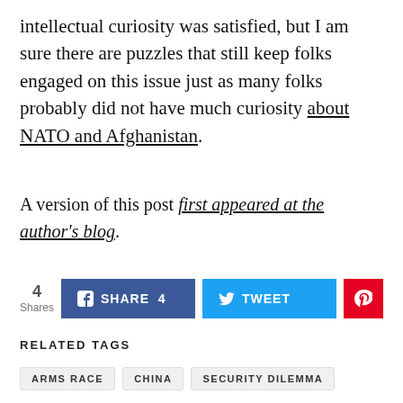intellectual curiosity was satisfied, but I am sure there are puzzles that still keep folks engaged on this issue just as many folks probably did not have much curiosity about NATO and Afghanistan.
A version of this post first appeared at the author's blog.
4 Shares  SHARE 4  TWEET  [Pinterest]
RELATED TAGS
ARMS RACE
CHINA
SECURITY DILEMMA